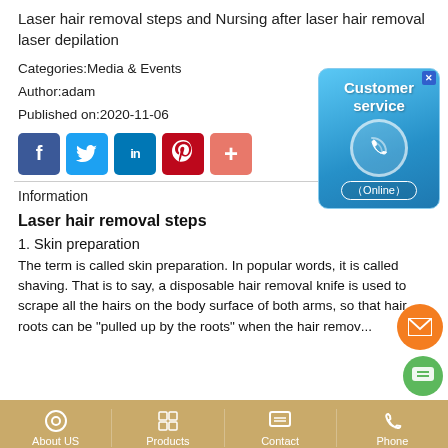Laser hair removal steps and Nursing after laser hair removal laser depilation
Categories:Media & Events
Author:adam
Published on:2020-11-06
[Figure (screenshot): Customer service online chat widget with phone icon]
[Figure (infographic): Social media share buttons: Facebook, Twitter, LinkedIn, Pinterest, Plus]
Information
Laser hair removal steps
1. Skin preparation
The term is called skin preparation. In popular words, it is called shaving. That is to say, a disposable hair removal knife is used to scrape all the hairs on the body surface of both arms, so that hair roots can be "pulled up by the roots" when the hair remov...
About US | Products | Contact | Phone